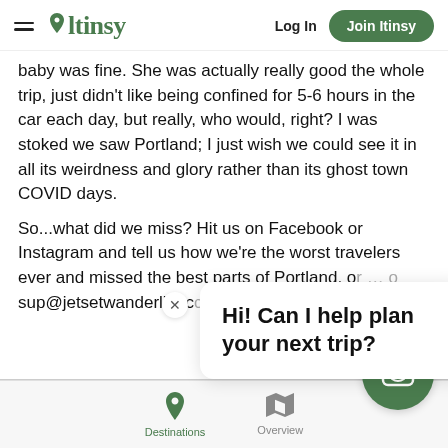[Figure (screenshot): Itinsy app header with hamburger menu, Itinsy logo with map pin, Log In link, and green Join Itinsy button]
baby was fine. She was actually really good the whole trip, just didn’t like being confined for 5-6 hours in the car each day, but really, who would, right? I was stoked we saw Portland; I just wish we could see it in all its weirdness and glory rather than its ghost town COVID days.
So…what did we miss? Hit us on Facebook or Instagram and tell us how we’re the worst travelers ever and missed the best parts of Portland, or … o sup@jetsetwanderlife.cc
Hi! Can I help plan your next trip?
Destinations   Overview